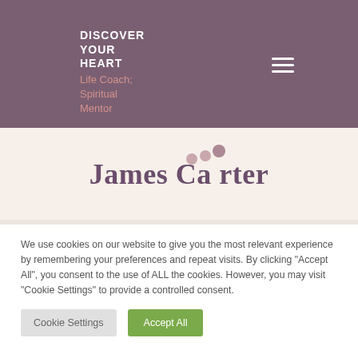DISCOVER YOUR HEART Life Coach; Spiritual Mentor
James Carter
We use cookies on our website to give you the most relevant experience by remembering your preferences and repeat visits. By clicking “Accept All”, you consent to the use of ALL the cookies. However, you may visit “Cookie Settings” to provide a controlled consent.
Cookie Settings
Accept All